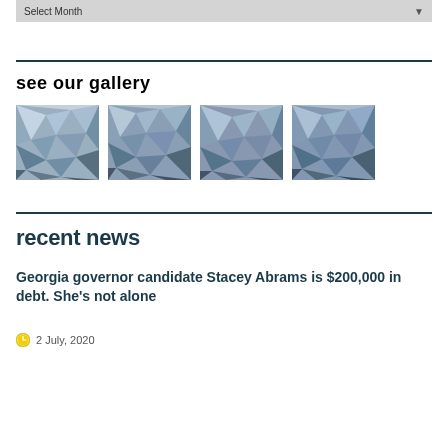Select Month
see our gallery
[Figure (photo): Four low-poly geometric images with blue-grey abstract mountain-like shapes arranged in a row]
recent news
Georgia governor candidate Stacey Abrams is $200,000 in debt. She’s not alone
2 July, 2020